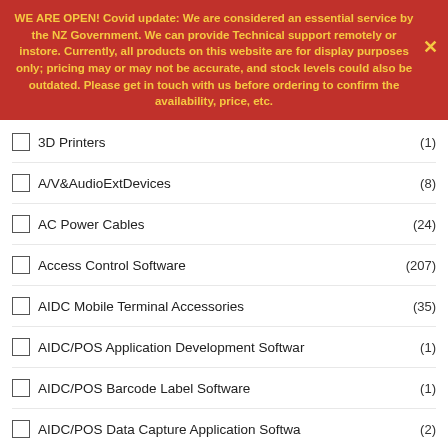WE ARE OPEN! Covid update: We are considered an essential service by the NZ Government. We can provide Technical support remotely or instore. Currently, all products on this website are for display purposes only; pricing may or may not be accurate, and stock levels could also be outdated. Please get in touch with us before ordering to confirm the availability, price, etc.
3D Printers (1)
A/V&AudioExtDevices (8)
AC Power Cables (24)
Access Control Software (207)
AIDC Mobile Terminal Accessories (35)
AIDC/POS Application Development Softwar (1)
AIDC/POS Barcode Label Software (1)
AIDC/POS Data Capture Application Softwa (2)
AIDC/POS Device Management Software (1)
AMD Graphics Cards (8)
AMD Processors (9)
Anti-Theft Devices
Apple
Apple iPad (1)